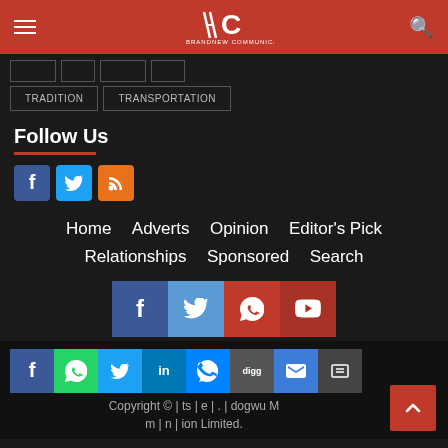Brandnewscommunications — site header with hamburger menu, logo, and search icon
TRADITION | TRANSPORTATION (tag buttons)
Follow Us
[Figure (other): Social media icons: Facebook (blue), Twitter (light blue), RSS (orange)]
Home   Adverts   Opinion   Editor's Pick
Relationships   Sponsored   Search
[Figure (other): Social share buttons row: Facebook, Twitter, Telegram, YouTube]
Copyright © | ts | e | . | dogwu M | m | n | ion Limited.
[Figure (other): Share buttons: Facebook, WhatsApp, Twitter, LinkedIn, Messenger, Digg, Email, Print. Back to top red button.]